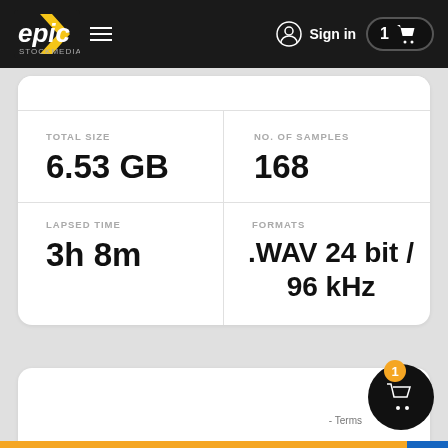[Figure (screenshot): Epic Stock Media website navigation bar with logo, hamburger menu, sign in, and cart with 1 item]
| TOTAL SIZE | NO. OF SAMPLES |
| --- | --- |
| 6.53 GB | 168 |
| LAPSED TIME | FORMATS |
| 3h 8m | .WAV 24 bit / 96 kHz |
LISTEN TO DEMOS